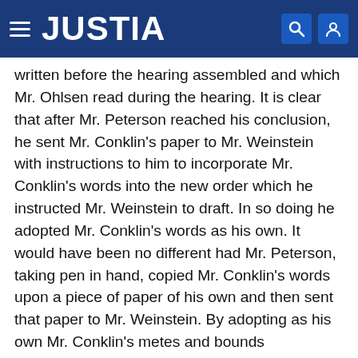JUSTIA
written before the hearing assembled and which Mr. Ohlsen read during the hearing. It is clear that after Mr. Peterson reached his conclusion, he sent Mr. Conklin's paper to Mr. Weinstein with instructions to him to incorporate Mr. Conklin's words into the new order which he instructed Mr. Weinstein to draft. In so doing he adopted Mr. Conklin's words as his own. It would have been no different had Mr. Peterson, taking pen in hand, copied Mr. Conklin's words upon a piece of paper of his own and then sent that paper to Mr. Weinstein. By adopting as his own Mr. Conklin's metes and bounds description, he made as his own, not only the merits of Mr. Conklin's description, but also its errors, if any. Mr. Weinstein was faithful to the instructions which Mr. Peterson gave him, and no one claims that he committed any error in drafting the order which Mr. Peterson shortly signed. The order was written in exact